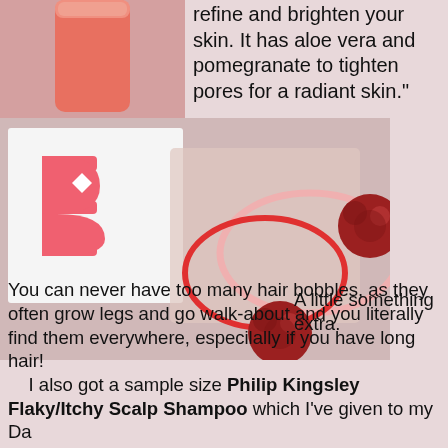[Figure (photo): Top-left corner: pink/coral cylindrical product container]
refine and brighten your skin. It has aloe vera and pomegranate to tighten pores for a radiant skin."
[Figure (photo): Hair bobbles (pom-pom hair ties in red/pink) on a white card with pink B logo, placed on a pinkish surface]
A little something extra. You can never have too many hair bobbles, as they often grow legs and go walk-about and you literally find them everywhere, especilally if you have long hair!
    I also got a sample size Philip Kingsley Flaky/Itchy Scalp Shampoo which I've given to my Da...